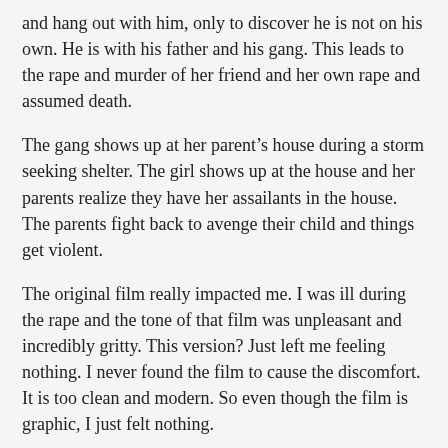and hang out with him, only to discover he is not on his own. He is with his father and his gang. This leads to the rape and murder of her friend and her own rape and assumed death.
The gang shows up at her parent’s house during a storm seeking shelter. The girl shows up at the house and her parents realize they have her assailants in the house. The parents fight back to avenge their child and things get violent.
The original film really impacted me. I was ill during the rape and the tone of that film was unpleasant and incredibly gritty. This version? Just left me feeling nothing. I never found the film to cause the discomfort. It is too clean and modern. So even though the film is graphic, I just felt nothing.
This is actually too bad, as this is a fairly good cast.
I would not recommend this film. It adds nothing on the